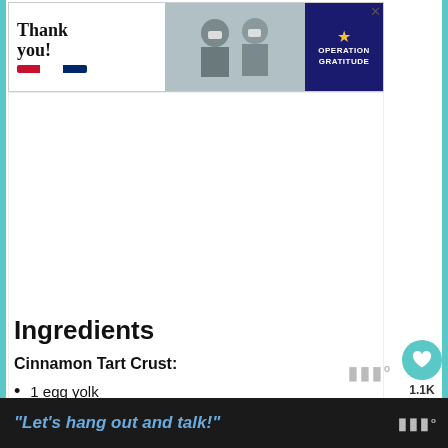[Figure (photo): Operation Gratitude advertisement banner showing 'Thank you!' text in handwritten script with American flag pencil graphic, a photo of masked military personnel, and the Operation Gratitude logo on a dark blue background]
[Figure (photo): Large white/blank image placeholder area below the advertisement banner]
Ingredients
Cinnamon Tart Crust:
1 egg yolk
2 tbsp cold water
[Figure (screenshot): Bottom bar with text: "Let's hang out and talk!" in blue italic font on dark background, with wordmark logo on right]